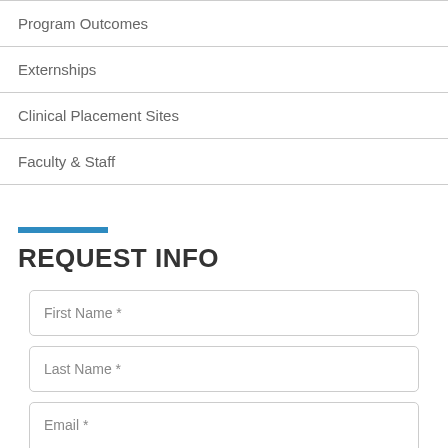Program Outcomes
Externships
Clinical Placement Sites
Faculty & Staff
REQUEST INFO
First Name *
Last Name *
Email *